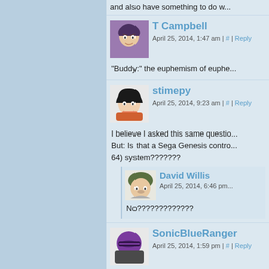and also have something to do w...
T Campbell
April 25, 2014, 1:47 am | # | Reply
"Buddy:" the euphemism of euphe...
stimepy
April 25, 2014, 9:23 am | # | Reply
I believe I asked this same questi... But: Is that a Sega Genesis contr... 64) system???????
David Willis
April 25, 2014, 6:46 pm
No?????????????
SonicBlueRanger
April 25, 2014, 1:59 pm | # | Reply
That's just silly. Billie doesn't look... Brother's a bigger Zelda fan than... phsyical forms or not.
Nezumi